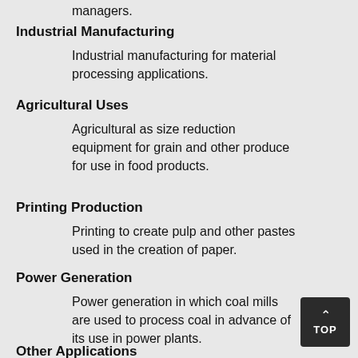managers.
Industrial Manufacturing
Industrial manufacturing for material processing applications.
Agricultural Uses
Agricultural as size reduction equipment for grain and other produce for use in food products.
Printing Production
Printing to create pulp and other pastes used in the creation of paper.
Power Generation
Power generation in which coal mills are used to process coal in advance of its use in power plants.
Other Applications
Tip, Shredding and Recycling